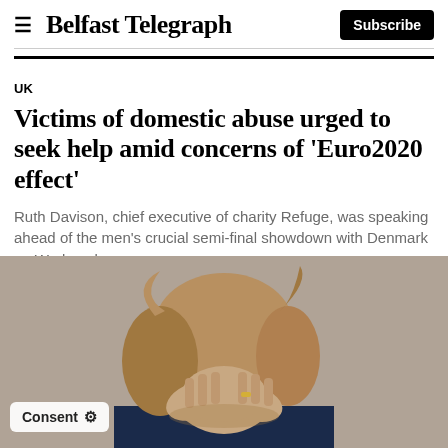Belfast Telegraph
UK
Victims of domestic abuse urged to seek help amid concerns of 'Euro2020 effect'
Ruth Davison, chief executive of charity Refuge, was speaking ahead of the men's crucial semi-final showdown with Denmark on Wednesday.
[Figure (photo): Woman with blonde hair covering her face with both hands, wearing a dark navy top, photographed against a grey-brown background. A consent badge appears in the bottom-left corner.]